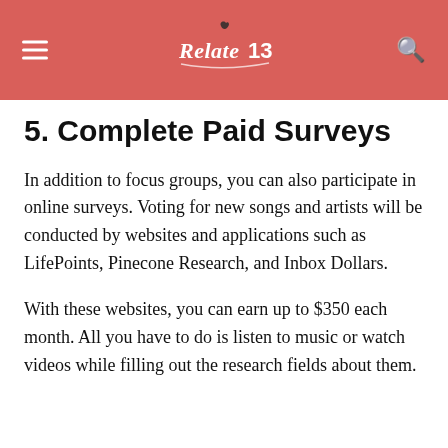Relate13 (logo)
5. Complete Paid Surveys
In addition to focus groups, you can also participate in online surveys. Voting for new songs and artists will be conducted by websites and applications such as LifePoints, Pinecone Research, and Inbox Dollars.
With these websites, you can earn up to $350 each month. All you have to do is listen to music or watch videos while filling out the research fields about them.